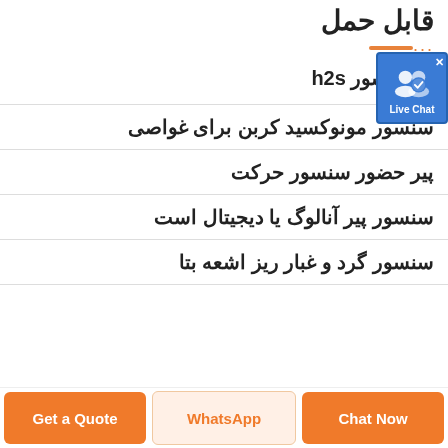قابل حمل
بو سنسور h2s
سنسور مونوکسید کربن برای غواصی
پیر حضور سنسور حرکت
سنسور پیر آنالوگ یا دیجیتال است
سنسور گرد و غبار ریز اشعه بتا
[Figure (screenshot): Live Chat button widget in top-right corner]
Get a Quote
WhatsApp
Chat Now